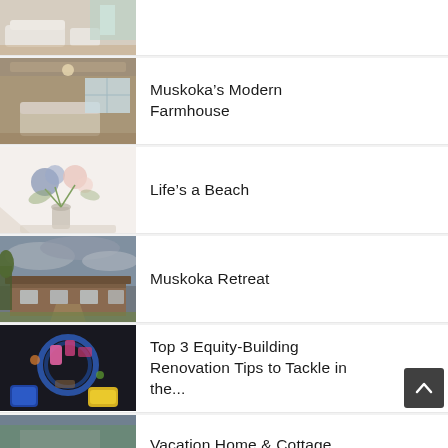[Figure (photo): Interior living room with white sofas and large windows, partially cropped]
[Figure (photo): Elegant interior room with coffered ceiling and neutral furniture]
Muskoka's Modern Farmhouse
[Figure (photo): Floral arrangement with soft pink and blue flowers in a vase]
Life's a Beach
[Figure (photo): Exterior of a rustic building under a dramatic cloudy sky]
Muskoka Retreat
[Figure (photo): Overhead view of tools and renovation equipment]
Top 3 Equity-Building Renovation Tips to Tackle in the...
[Figure (photo): Vacation home or cottage exterior, partially cropped]
Vacation Home & Cottage